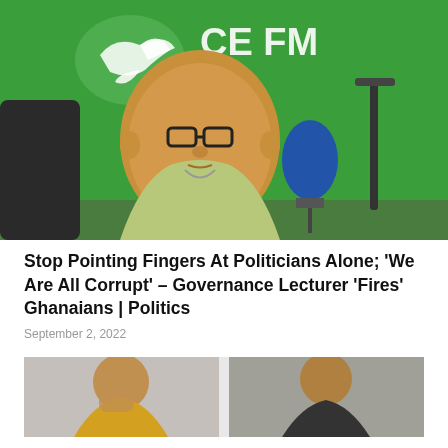[Figure (photo): A man in a light green shirt sitting at a radio studio desk in front of a microphone, with a green radio station banner showing a dove logo and 'PEACE FM 104.' in the background]
Stop Pointing Fingers At Politicians Alone; ‘We Are All Corrupt’ – Governance Lecturer ‘Fires’ Ghanaians | Politics
September 2, 2022
[Figure (photo): Two men side by side: left man wearing a yellow hoodie with hand on face looking distressed; right man in dark clothing looking to the side]